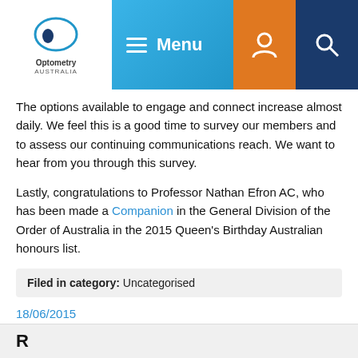[Figure (screenshot): Optometry Australia website header with logo, hamburger menu labeled 'Menu', orange user icon, and dark blue search icon on a blue gradient background]
The options available to engage and connect increase almost daily. We feel this is a good time to survey our members and to assess our continuing communications reach. We want to hear from you through this survey.
Lastly, congratulations to Professor Nathan Efron AC, who has been made a Companion in the General Division of the Order of Australia in the 2015 Queen's Birthday Australian honours list.
Filed in category: Uncategorised
18/06/2015
Nathan Efron made Companion of the Order of Australia
Perseverance wins, tele-health item to start 1 September